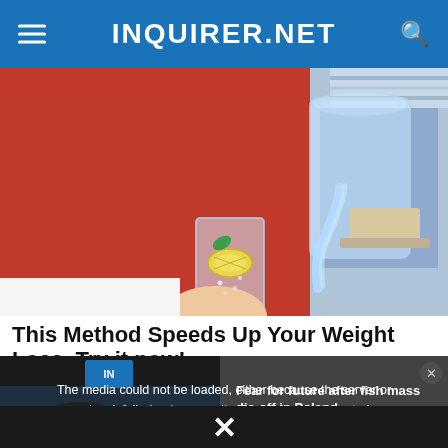INQUIRER.NET
[Figure (photo): Person in red clothing pouring water with lemon slices from a glass pitcher into a tall glass]
This Method Speeds Up Your Weight Loss. Try it now!
The media could not be loaded, either because the server or network failed or because the format is not supported.
Fear for future after fish mass die-off in Poland
[Figure (screenshot): Video player thumbnail showing text: FEAR FOR FUTURE AFTER FISH MASS DIE-OFF IN POLAND]